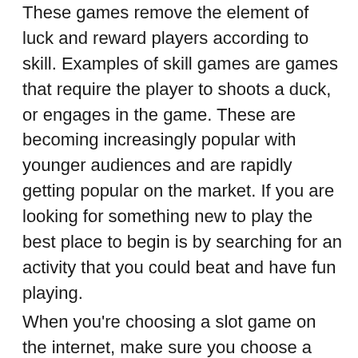These games remove the element of luck and reward players according to skill. Examples of skill games are games that require the player to shoots a duck, or engages in the game. These are becoming increasingly popular with younger audiences and are rapidly getting popular on the market. If you are looking for something new to play the best place to begin is by searching for an activity that you could beat and have fun playing. When you're choosing a slot game on the internet, make sure you choose a website that is legal. A reputable site won't charge you any transaction fees and will also thank you for your loyalty by providing you with the chance to win a welcome bonus. This is a bonus that can be used to boost your chances of winning. It is vital to ensure that an online slot gambling site is monitored by a government agency to ensure its security